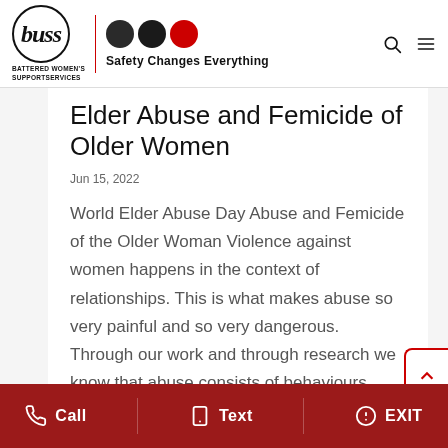[Figure (logo): Battered Women's Support Services logo with buss wordmark, three circles (two dark, one red), and tagline 'Safety Changes Everything']
Elder Abuse and Femicide of Older Women
Jun 15, 2022
World Elder Abuse Day Abuse and Femicide of the Older Woman Violence against women happens in the context of relationships. This is what makes abuse so very painful and so very dangerous. Through our work and through research we know that abuse consists of behaviours...
read more
Call   Text   EXIT